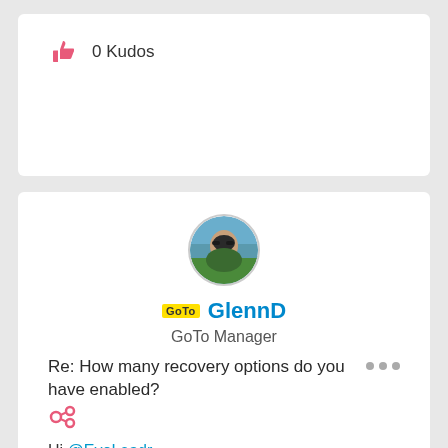0 Kudos
[Figure (photo): Circular avatar photo of user GlennD wearing sunglasses outdoors]
GoTo GlennD
GoTo Manager
Re: How many recovery options do you have enabled?
Hi @EvoLeadr
You misunderstood my reply so I am going to state this again to prevent any confusion for those reading the